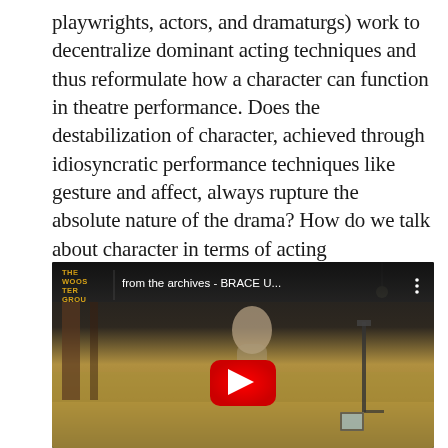playwrights, actors, and dramaturgs) work to decentralize dominant acting techniques and thus reformulate how a character can function in theatre performance. Does the destabilization of character, achieved through idiosyncratic performance techniques like gesture and affect, always rupture the absolute nature of the drama? How do we talk about character in terms of acting methodology in postdramatic theatre in the United States?
[Figure (screenshot): Embedded YouTube video thumbnail showing a theatre performance stage with a performer visible. The video is titled 'from the archives - BRACE U...' with The Wooster Group logo in the top-left corner, and a YouTube play button overlay in the center.]